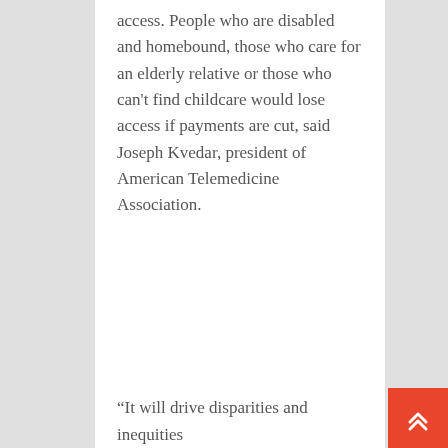access. People who are disabled and homebound, those who care for an elderly relative or those who can't find childcare would lose access if payments are cut, said Joseph Kvedar, president of American Telemedicine Association.
“It will drive disparities and inequities